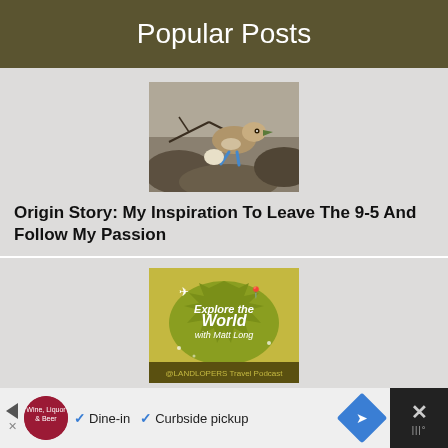Popular Posts
[Figure (photo): Photo of a bird (blue-footed booby) on rocky ground with another bird or egg visible]
Origin Story: My Inspiration To Leave The 9-5 And Follow My Passion
[Figure (logo): Explore the World with Matt Long - LandLopers Travel Podcast logo on yellow-green background]
Explore The World Travel Podcast
[Figure (screenshot): Advertisement bar: Wine Liquor & Beer store ad with Dine-in and Curbside pickup options, navigation diamond icon, and close button]